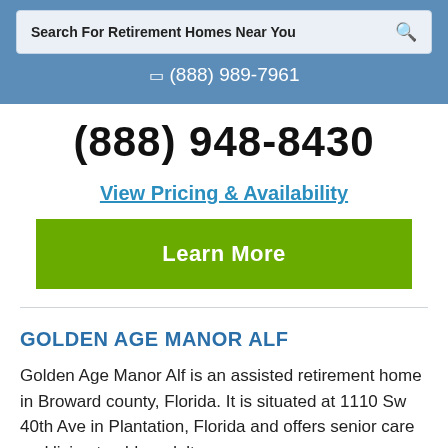Search For Retirement Homes Near You
(888) 989-7961
(888) 948-8430
View Pricing & Availability
Learn More
GOLDEN AGE MANOR ALF
Golden Age Manor Alf is an assisted retirement home in Broward county, Florida. It is situated at 1110 Sw 40th Ave in Plantation, Florida and offers senior care and living to older adults